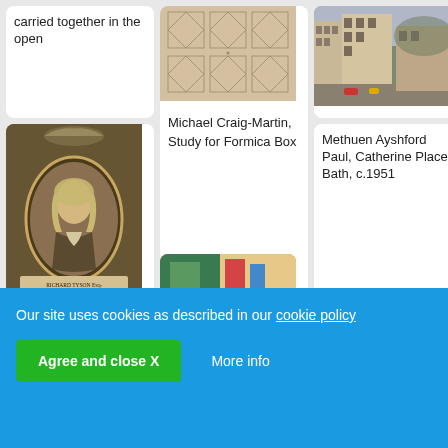carried together in the open
[Figure (illustration): Geometric line drawing with diamond/square patterns on beige paper]
[Figure (photo): Painting of a city street with tall buildings, c.1951]
Michael Craig-Martin, Study for Formica Box
Methuen Ayshford Paul, Catherine Place, Bath, c.1951
[Figure (illustration): Engraved oval portrait of Richard Tyson Esq, Master of the Ceremonies, Old Rooms]
[Figure (photo): Partial image of a colorful painting visible at bottom]
Our site uses cookies as described in our cookie policy
Agree and close X
More info